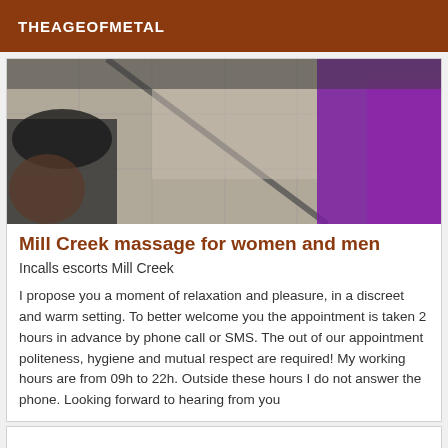THEAGEOFMETAL
[Figure (photo): Photo showing what appears to be a gym or fitness setting with weights and purple/magenta colored objects, taken from an angle with tiled floor visible]
Mill Creek massage for women and men
Incalls escorts Mill Creek
I propose you a moment of relaxation and pleasure, in a discreet and warm setting. To better welcome you the appointment is taken 2 hours in advance by phone call or SMS. The out of our appointment politeness, hygiene and mutual respect are required! My working hours are from 09h to 22h. Outside these hours I do not answer the phone. Looking forward to hearing from you